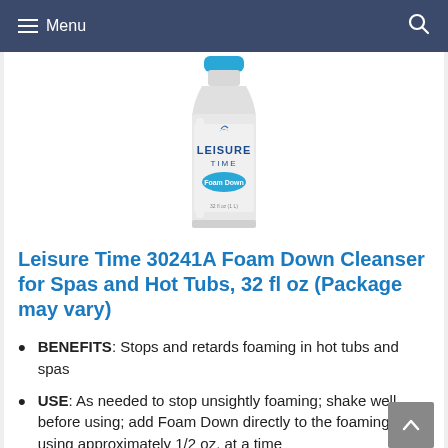Menu
[Figure (photo): Leisure Time Foam Down product bottle — white cylindrical bottle with blue cap, label reading LEISURE TIME with Foam Down text on blue oval badge]
Leisure Time 30241A Foam Down Cleanser for Spas and Hot Tubs, 32 fl oz (Package may vary)
BENEFITS: Stops and retards foaming in hot tubs and spas
USE: As needed to stop unsightly foaming; shake well before using; add Foam Down directly to the foaming area using approximately 1/2 oz. at a time